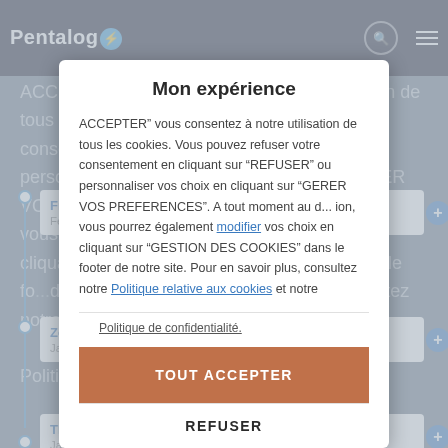Pentalog ⚡
ACCEPTER" vous consentez à notre utilisation de tous les cookies. Vous pouvez refuser votre consentement en cliquant sur "REFUSER" ou personnaliser vos choix en cliquant sur "GERER VOS PREFERENCES". A tout moment au d... ion, vous pourrez également modifier vos choix en cliquant sur "GESTION DES COOKIES" dans le fo...de no...re site. Pour en savoir plus, consultez notre Politique relative aux cookies et notre
Politique de confidentialité.
Mon expérience
Freelance.net
February 2018 - Présent
Zoo B
January 2015 - Présent
TIING
January 2018 - 2020
TOUT ACCEPTER
REFUSER